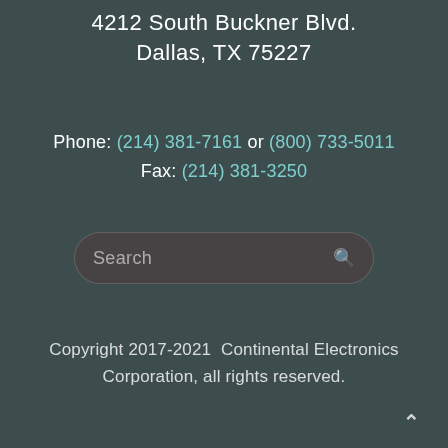4212 South Buckner Blvd.
Dallas, TX 75227
Phone: (214) 381-7161 or (800) 733-5011
Fax: (214) 381-3250
[Figure (other): Search input box with magnifying glass icon]
Copyright 2017-2021  Continental Electronics Corporation, all rights reserved.